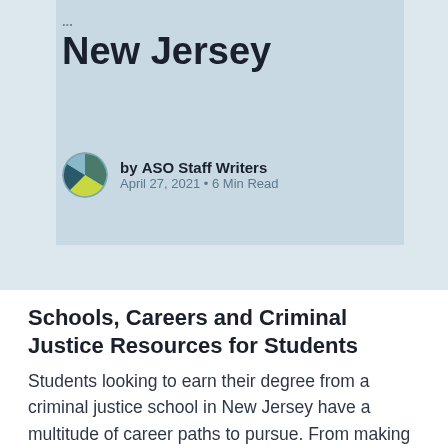New Jersey
by ASO Staff Writers
April 27, 2021 • 6 Min Read
Schools, Careers and Criminal Justice Resources for Students
Students looking to earn their degree from a criminal justice school in New Jersey have a multitude of career paths to pursue. From making sure underserved individuals are well-represented in court to investigating the cause